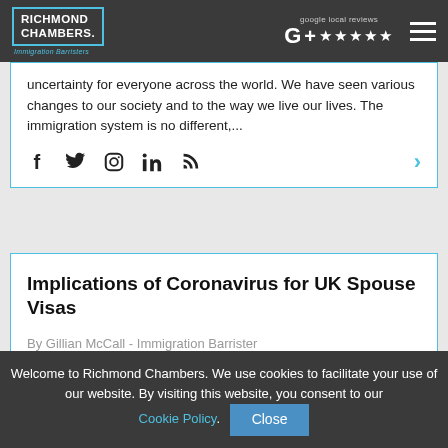Richmond Chambers. Immigration Barristers | Google local reviews ★★★★★
uncertainty for everyone across the world. We have seen various changes to our society and to the way we live our lives. The immigration system is no different,...
Implications of Coronavirus for UK Spouse Visas
By Gillian McCall - Immigration Barrister
10 Jun 2020
Welcome to Richmond Chambers. We use cookies to facilitate your use of our website. By visiting this website, you consent to our Cookie Policy. Close